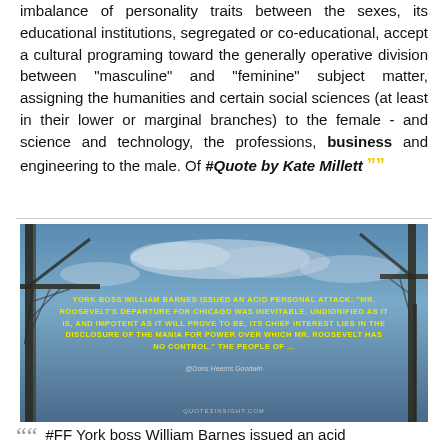imbalance of personality traits between the sexes, its educational institutions, segregated or co-educational, accept a cultural programing toward the generally operative division between "masculine" and "feminine" subject matter, assigning the humanities and certain social sciences (at least in their lower or marginal branches) to the female - and science and technology, the professions, business and engineering to the male. Of #Quote by Kate Millett ””
[Figure (photo): Photo of construction cranes against a blue sky with clouds. Overlaid yellow bold text reads: 'YORK BOSS WILLIAM BARNES ISSUED AN ACID PERSONAL ATTACK: "MR. ROOSEVELT'S DEPARTURE FOR CHICAGO WAS INEVITABLE. UNDIGNIFIED AS IT IS, AND IMPOTENT AS IT WILL PROVE TO BE, ITS CHIEF INTEREST LIES IN THE DISCLOSURE OF THE MANIA FOR POWER OVER WHICH MR. ROOSEVELT HAS NO CONTROL." THE PEOPLE OF ...' Attribution: @Doris Hearns Goodwin. Site: QUOTESINSIGHT.COM]
““ #FF York boss William Barnes issued an acid